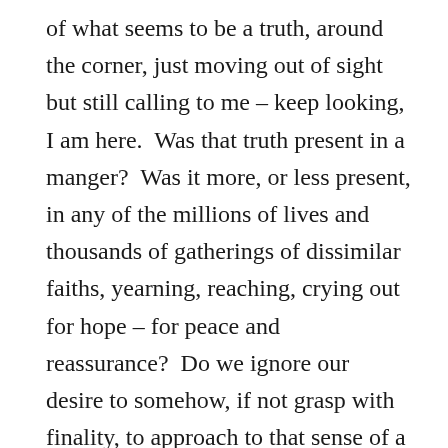of what seems to be a truth, around the corner, just moving out of sight but still calling to me – keep looking, I am here.  Was that truth present in a manger?  Was it more, or less present, in any of the millions of lives and thousands of gatherings of dissimilar faiths, yearning, reaching, crying out for hope – for peace and reassurance?  Do we ignore our desire to somehow, if not grasp with finality, to approach to that sense of a sacred place that some long unused chamber of our being senses but cannot inhabit?  Those childhood wishes for Santa came from a deeper place that I think we all share.  Whether those places of that were, I and